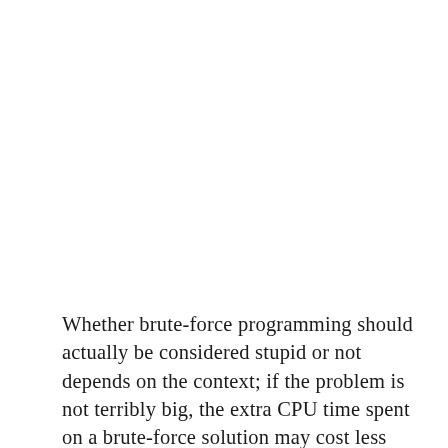Whether brute-force programming should actually be considered stupid or not depends on the context; if the problem is not terribly big, the extra CPU time spent on a brute-force solution may cost less than the programmer time it would take to develop a more "intelligent" algorithm. Additionally, a more intelligent algorithm may imply more long-